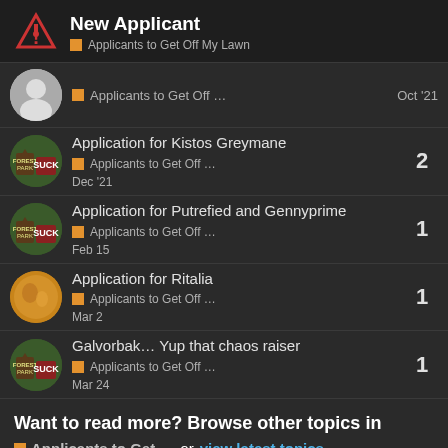New Applicant — Applicants to Get Off My Lawn
Applicants to Get Off … — Oct '21
Application for Kistos Greymane — Applicants to Get Off … — Dec '21 — 2 replies
Application for Putrefied and Gennyprime — Applicants to Get Off … — Feb 15 — 1 reply
Application for Ritalia — Applicants to Get Off … — Mar 2 — 1 reply
Galvorbak… Yup that chaos raiser — Applicants to Get Off … — Mar 24 — 1 reply
Want to read more? Browse other topics in Applicants to Get … or view latest topics.